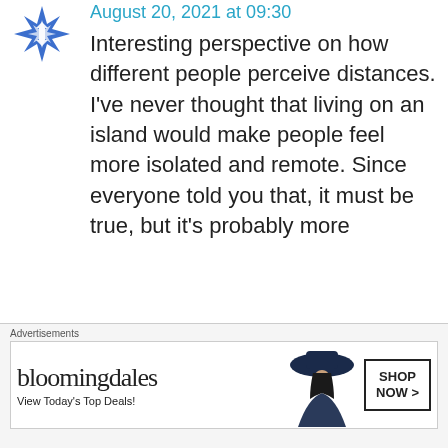[Figure (logo): Blue snowflake/star avatar icon]
August 20, 2021 at 09:30
Interesting perspective on how different people perceive distances. I’ve never thought that living on an island would make people feel more isolated and remote. Since everyone told you that, it must be true, but it’s probably more
Advertisements
[Figure (screenshot): Bloomingdale's advertisement banner with logo, tagline 'View Today’s Top Deals!', model wearing large hat, and 'SHOP NOW >' button]